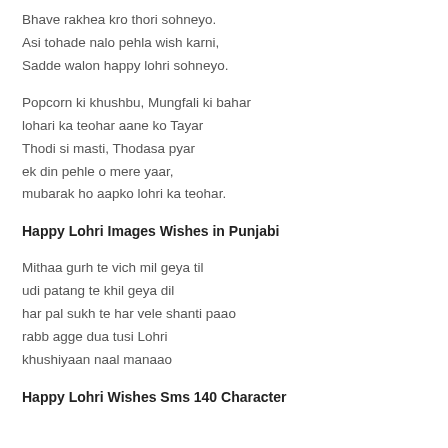Bhave rakhea kro thori sohneyo.
Asi tohade nalo pehla wish karni,
Sadde walon happy lohri sohneyo.
Popcorn ki khushbu, Mungfali ki bahar
lohari ka teohar aane ko Tayar
Thodi si masti, Thodasa pyar
ek din pehle o mere yaar,
mubarak ho aapko lohri ka teohar.
Happy Lohri Images Wishes in Punjabi
Mithaa gurh te vich mil geya til
udi patang te khil geya dil
har pal sukh te har vele shanti paao
rabb agge dua tusi Lohri
khushiyaan naal manaao
Happy Lohri Wishes Sms 140 Character